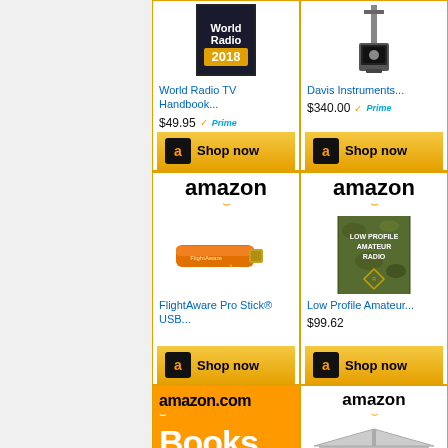[Figure (screenshot): Amazon product listing for World Radio TV Handbook, price $49.95 with Prime, Shop now button]
[Figure (screenshot): Amazon product listing for Davis Instruments, price $340.00 with Prime, Shop now button]
[Figure (screenshot): Amazon product listing for FlightAware Pro Stick USB, showing orange USB dongle device, Shop now button]
[Figure (screenshot): Amazon product listing for Low Profile Amateur Radio book, price $99.62, Shop now button]
[Figure (screenshot): Amazon.com Books section with orange background]
[Figure (screenshot): Amazon product listing with tent/canopy image]